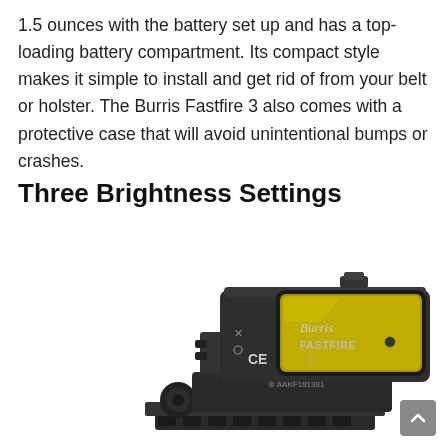1.5 ounces with the battery set up and has a top-loading battery compartment. Its compact style makes it simple to install and get rid of from your belt or holster. The Burris Fastfire 3 also comes with a protective case that will avoid unintentional bumps or crashes.
Three Brightness Settings
[Figure (photo): Photo of a Burris Fastfire 2 red dot sight mounted on a rail mount, shown at an angle. The sight has a black body with a yellow-tinted lens. The text 'Burris FASTFIRE 2' and serial number 'AAKF181381' are visible on the side, along with CE certification mark.]